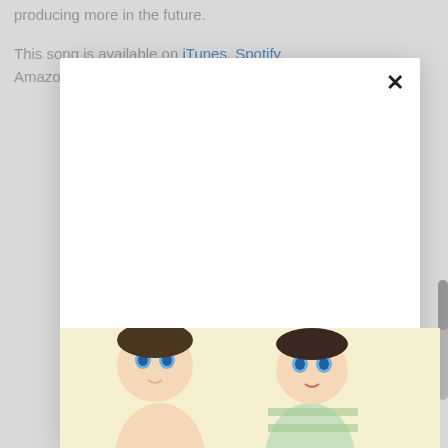producing more in the future.
This song is available on iTunes, Spotify, Amazon, Chorus, Christian planet, and more.
[Figure (screenshot): A modal dialog overlay with a white background and a close (X) button in the upper right corner. The modal is empty/blank inside.]
[Figure (illustration): Bottom portion of a cartoon illustration showing two anime-style children characters with large eyes, partially visible at the bottom of the page.]